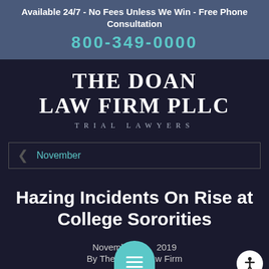Available 24/7 - No Fees Unless We Win - Free Phone Consultation
800-349-0000
[Figure (logo): The Doan Law Firm PLLC - Trial Lawyers logo, white serif text on dark background]
November
Hazing Incidents On Rise at College Sororities
November 2019
By The Doan Law Firm